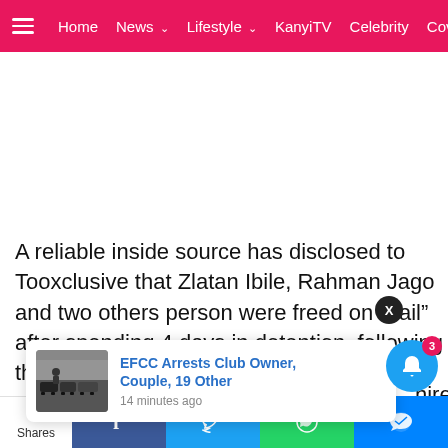Home  News  Lifestyle  KanyiTV  Celebrity  Covid19
[Figure (other): Advertisement white space area]
A reliable inside source has disclosed to Tooxclusive that Zlatan Ibile, Rahman Jago and two others person were freed on “bail” after spending 4 days in detention, following the intervention of a Senior ...hired for them, ...s office
[Figure (screenshot): Popup notification card: EFCC Arrests Club Owner, Couple, 19 Other - 14 minutes ago, with thumbnail image of cars]
Shares  Facebook  Twitter  WhatsApp  Messenger